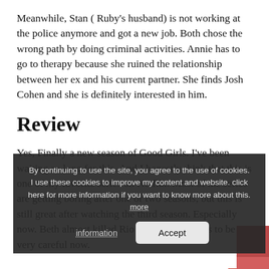Meanwhile, Stan ( Ruby's husband) is not working at the police anymore and got a new job. Both chose the wrong path by doing criminal activities. Annie has to go to therapy because she ruined the relationship between her ex and his current partner. She finds Josh Cohen and she is definitely interested in him.
Review
Yes, Finally a new season of Good Girls. I've been waiting so long for this. And I honestly think that this is one of my favorite series on Netflix. Most of the series are getting boring after one or two seasons, but this is still great after watching the third season. Especially now. Beth almost killed Rio and she really has to be very careful now.
Rio is even more bad-ass than normal, not surprising because he almost died. I am happy he didn't die because
[Figure (screenshot): Cookie consent banner overlay with dark semi-transparent background. Text reads: 'By continuing to use the site, you agree to the use of cookies. I use these cookies to improve my content and website. click here for more information if you want to know more about this. more'. Two buttons: 'information' (text with dotted underline) and 'Accept' (rounded grey button).]